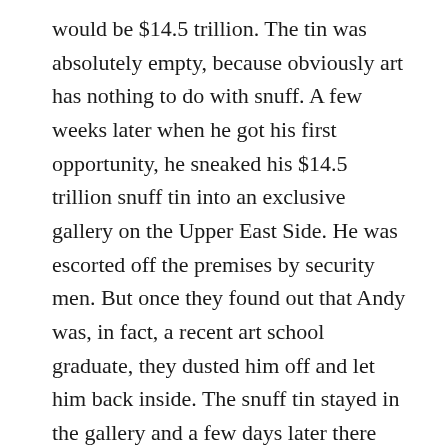would be $14.5 trillion. The tin was absolutely empty, because obviously art has nothing to do with snuff. A few weeks later when he got his first opportunity, he sneaked his $14.5 trillion snuff tin into an exclusive gallery on the Upper East Side. He was escorted off the premises by security men. But once they found out that Andy was, in fact, a recent art school graduate, they dusted him off and let him back inside. The snuff tin stayed in the gallery and a few days later there was an article about it in The New York Times by a critic known as Bon Tobzgratn̈, who extolled the snuff tin's